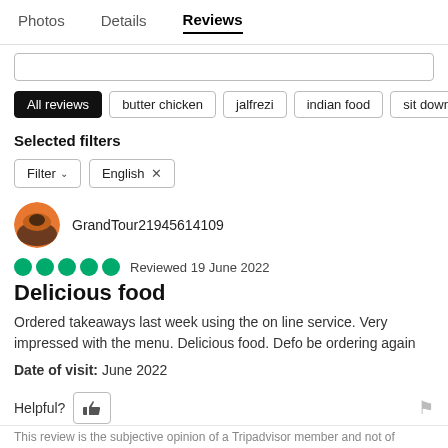Photos   Details   Reviews
All reviews   butter chicken   jalfrezi   indian food   sit down
Selected filters
Filter  English ×
GrandTour21945614109
Reviewed 19 June 2022
Delicious food
Ordered takeaways last week using the on line service. Very impressed with the menu. Delicious food. Defo be ordering again
Date of visit: June 2022
Helpful?
This review is the subjective opinion of a Tripadvisor member and not of